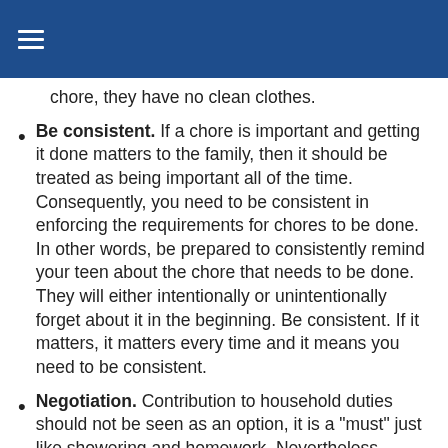chore, they have no clean clothes.
Be consistent. If a chore is important and getting it done matters to the family, then it should be treated as being important all of the time. Consequently, you need to be consistent in enforcing the requirements for chores to be done. In other words, be prepared to consistently remind your teen about the chore that needs to be done. They will either intentionally or unintentionally forget about it in the beginning. Be consistent. If it matters, it matters every time and it means you need to be consistent.
Negotiation. Contribution to household duties should not be seen as an option, it is a "must" just like showering and homework. Nevertheless, teenagers like to feel they're doing things based on independent choice — not external